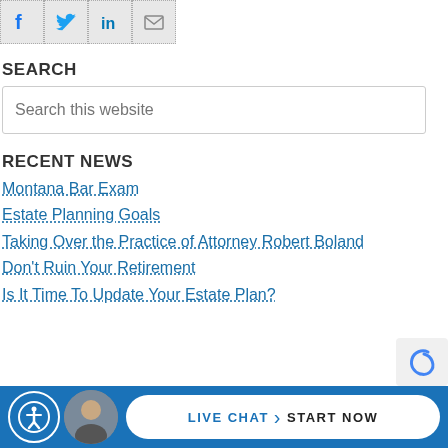[Figure (other): Social media share icons: Facebook, Twitter, LinkedIn, Email/envelope, arranged in a row with dotted borders]
SEARCH
Search this website
RECENT NEWS
Montana Bar Exam
Estate Planning Goals
Taking Over the Practice of Attorney Robert Boland
Don't Ruin Your Retirement
Is It Time To Update Your Estate Plan?
[Figure (other): Bottom bar with accessibility icon, attorney photo, and Live Chat Start Now button on blue background]